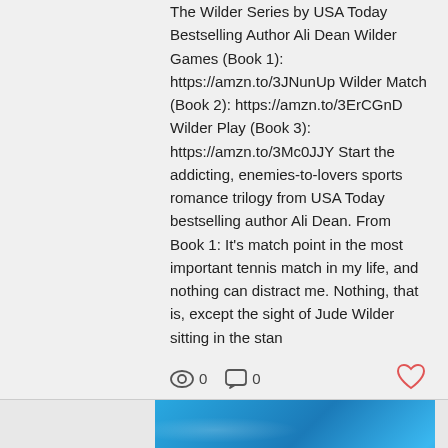The Wilder Series by USA Today Bestselling Author Ali Dean Wilder Games (Book 1): https://amzn.to/3JNunUp Wilder Match (Book 2): https://amzn.to/3ErCGnD Wilder Play (Book 3): https://amzn.to/3Mc0JJY Start the addicting, enemies-to-lovers sports romance trilogy from USA Today bestselling author Ali Dean. From Book 1: It's match point in the most important tennis match in my life, and nothing can distract me. Nothing, that is, except the sight of Jude Wilder sitting in the stan
0   0
[Figure (photo): Blue water background with bold white text reading SPARK SISTERS SERIES]